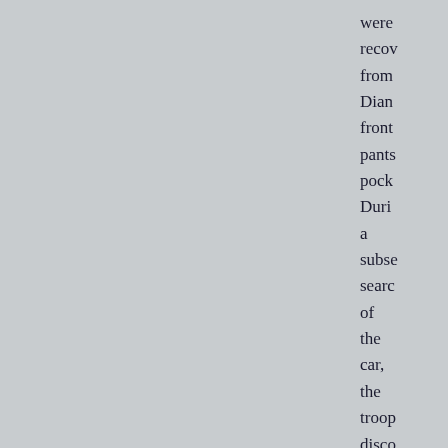were recovered from Dian front pants pocket During a subsequent search of the car, the troop discovered a manila envelope that